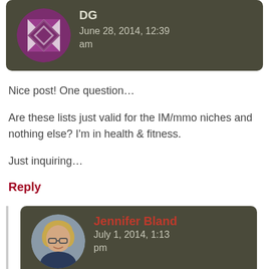[Figure (illustration): Comment header block with purple geometric avatar (DG) on dark olive background, showing name DG and date June 28, 2014, 12:39 am]
Nice post! One question…
Are these lists just valid for the IM/mmo niches and nothing else? I'm in health & fitness.
Just inquiring…
Reply
[Figure (illustration): Comment header block with photo avatar of Jennifer Bland on dark olive background, showing name Jennifer Bland in red and date July 1, 2014, 1:13 pm]